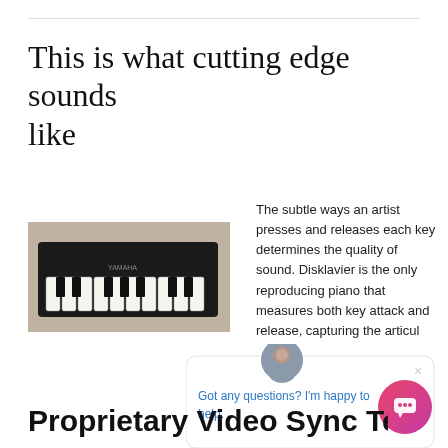This is what cutting edge sounds like
[Figure (photo): Black grand piano keyboard viewed from the side, against a warm wood background]
The subtle ways an artist presses and releases each key determines the quality of sound. Disklavier is the only reproducing piano that measures both key attack and release, capturing the articulation up to ... hammer position
[Figure (screenshot): Chat popup overlay with avatar photo of a man, text reading 'Got any questions? I'm happy to help.' with a close X button, and a pink chat bubble button in the lower right]
Proprietary Video Sync Techno...